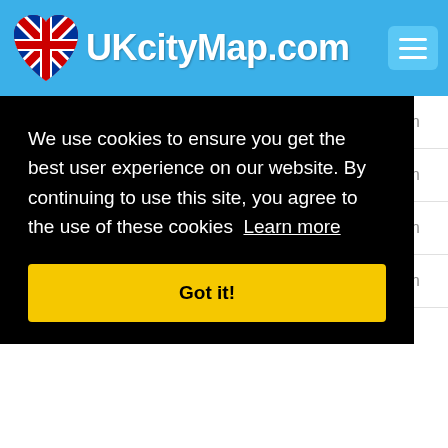UKcityMap.com
| City | Distance |
| --- | --- |
| Clay Mills | 2.85 Km |
| Hatton | 2.98 Km |
| Horninglow | 3.05 Km |
| Egginton | 3.08 Km |
We use cookies to ensure you get the best user experience on our website. By continuing to use this site, you agree to the use of these cookies Learn more
Got it!